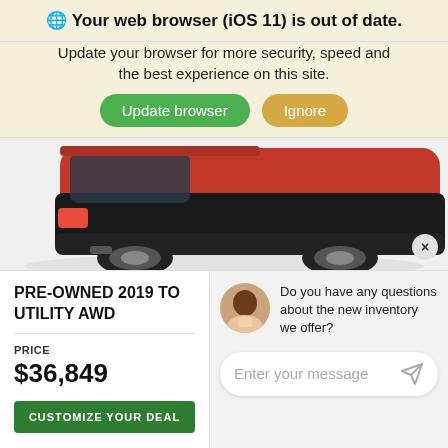🌐 Your web browser (iOS 11) is out of date.
Update your browser for more security, speed and the best experience on this site.
Update browser | Ignore
[Figure (photo): Partial rear view of a red and black SUV/car against a white background]
PRE-OWNED 2019 TO UTILITY AWD
Do you have any questions about the new inventory we offer?
PRICE
$36,849
CUSTOMIZE YOUR DEAL
Enter your message
CHECK AVAILABILITY
Chat
Text